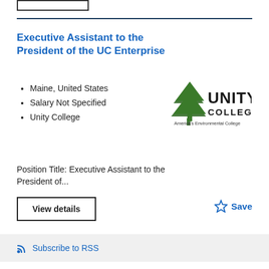[Figure (logo): Unity College logo with tree icon and text 'UNITY COLLEGE America's Environmental College']
Executive Assistant to the President of the UC Enterprise
Maine, United States
Salary Not Specified
Unity College
Position Title: Executive Assistant to the President of...
View details
Save
Subscribe to RSS